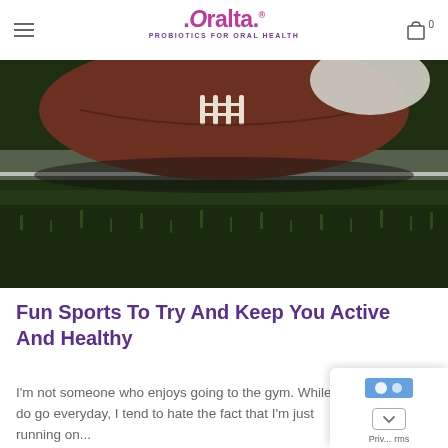Oralta - PROBIOTICS FOR ORAL HEALTH
[Figure (photo): Close-up photo of an American football resting on green grass field with white yard line markings visible]
Fun Sports To Try And Keep You Active And Healthy
I'm not someone who enjoys going to the gym. While I do go everyday, I tend to hate the fact that I'm just running on...